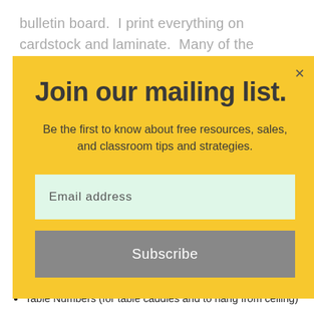bulletin board.  I print everything on cardstock and laminate.  Many of the pieces are editable, so you can
Join our mailing list.
Be the first to know about free resources, sales, and classroom tips and strategies.
Email address
Subscribe
Pennant Banner Options for Bulletin Board Displays
Editable Supply Labels/Premade Supply Labels
Table Numbers (for table caddies and to hang from ceiling)